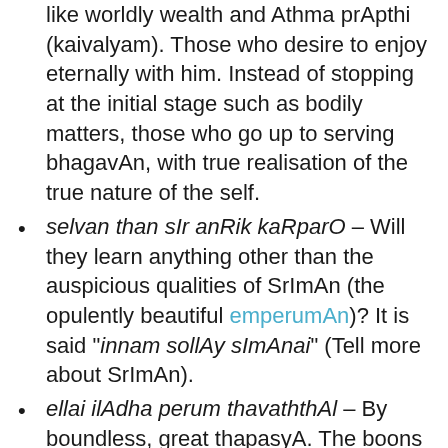like worldly wealth and Athma prApthi (kaivalyam). Those who desire to enjoy eternally with him. Instead of stopping at the initial stage such as bodily matters, those who go up to serving bhagavAn, with true realisation of the true nature of the self.
selvan than sIr anRik kaRparO – Will they learn anything other than the auspicious qualities of SrImAn (the opulently beautiful emperumAn)? It is said "innam sollAy sImAnai" (Tell more about SrImAn).
ellai ilAdha perum thavaththAl – By boundless, great thapasyA. The boons were so powerful that the dhEvas were driven out from their own residences.
pala sey miRai allal amararaich cheyyum – the body of hiraNya who is troubling them in